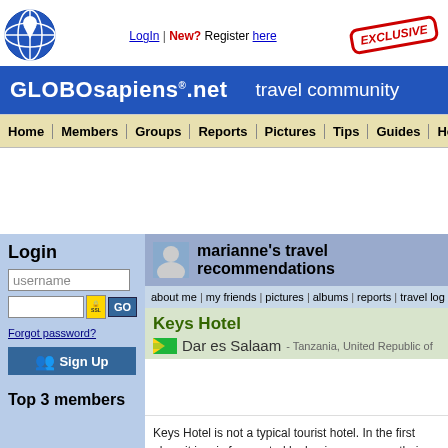LogIn | New? Register here
GLOBOsapiens.net travel community
Home | Members | Groups | Reports | Pictures | Tips | Guides | Hostels
Login
username
Forgot password?
Sign Up
marianne's travel recommendations
about me | my friends | pictures | albums | reports | travel log | t
Keys Hotel
Dar es Salaam - Tanzania, United Republic of
Keys Hotel is not a typical tourist hotel. In the first place it is a is frequented by business man on their way home from work meet people. There are suites US$20, breakfast is included a without breakfast, it is clean, safe, close to centre and ferries
Top 3 members